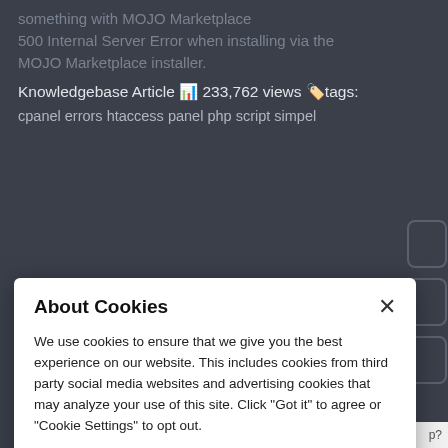something with MOJO Marketplace
500 Internal Server Error when installing via the MOJO Marketplace installer.
Knowledgebase Article 📊 233,762 views 🏷️tags: cpanel errors htaccess panel php script simpel
About Cookies
We use cookies to ensure that we give you the best experience on our website. This includes cookies from third party social media websites and advertising cookies that may analyze your use of this site. Click "Got it" to agree or "Cookie Settings" to opt out.
Cookie Notice
Got It
Cookies Settings